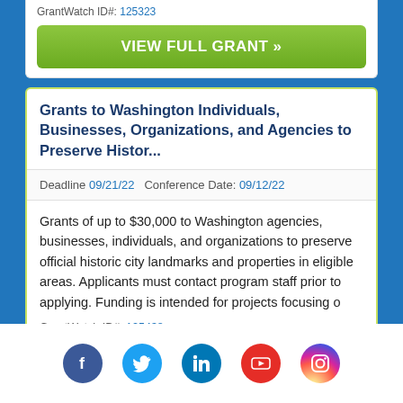GrantWatch ID#: 125323
VIEW FULL GRANT »
Grants to Washington Individuals, Businesses, Organizations, and Agencies to Preserve Histor...
Deadline 09/21/22   Conference Date: 09/12/22
Grants of up to $30,000 to Washington agencies, businesses, individuals, and organizations to preserve official historic city landmarks and properties in eligible areas. Applicants must contact program staff prior to applying. Funding is intended for projects focusing o
GrantWatch ID#: 125438
[Figure (infographic): Social media icons row: Facebook (blue circle), Twitter (light blue circle), LinkedIn (blue circle), YouTube (red circle), Instagram (gradient circle)]